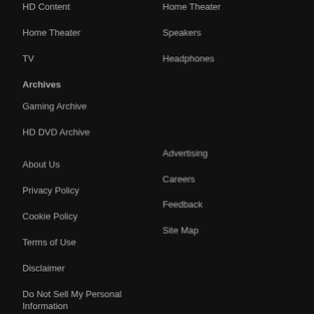HD Content
Home Theater
Home Theater
Speakers
TV
Headphones
Archives
Gaming Archive
HD DVD Archive
About Us
Advertising
Privacy Policy
Careers
Cookie Policy
Feedback
Terms of Use
Site Map
Disclaimer
Do Not Sell My Personal Information